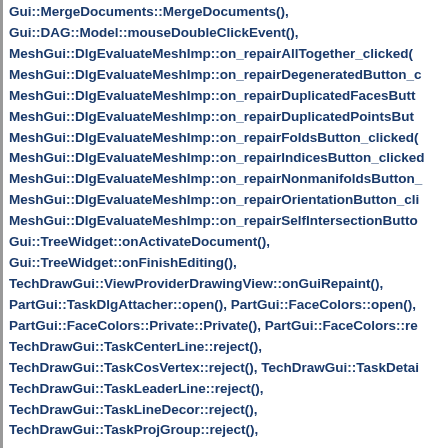Gui::MergeDocuments::MergeDocuments(),
Gui::DAG::Model::mouseDoubleClickEvent(),
MeshGui::DlgEvaluateMeshImp::on_repairAllTogether_clicked()
MeshGui::DlgEvaluateMeshImp::on_repairDegeneratedButton_c
MeshGui::DlgEvaluateMeshImp::on_repairDuplicatedFacesButto
MeshGui::DlgEvaluateMeshImp::on_repairDuplicatedPointsBut
MeshGui::DlgEvaluateMeshImp::on_repairFoldsButton_clicked()
MeshGui::DlgEvaluateMeshImp::on_repairIndicesButton_clicked
MeshGui::DlgEvaluateMeshImp::on_repairNonmanifoldsButton_
MeshGui::DlgEvaluateMeshImp::on_repairOrientationButton_cli
MeshGui::DlgEvaluateMeshImp::on_repairSelfIntersectionButto
Gui::TreeWidget::onActivateDocument(),
Gui::TreeWidget::onFinishEditing(),
TechDrawGui::ViewProviderDrawingView::onGuiRepaint(),
PartGui::TaskDlgAttacher::open(), PartGui::FaceColors::open(),
PartGui::FaceColors::Private::Private(), PartGui::FaceColors::re
TechDrawGui::TaskCenterLine::reject(),
TechDrawGui::TaskCosVertex::reject(), TechDrawGui::TaskDetai
TechDrawGui::TaskLeaderLine::reject(),
TechDrawGui::TaskLineDecor::reject(),
TechDrawGui::TaskProjGroup::reject()